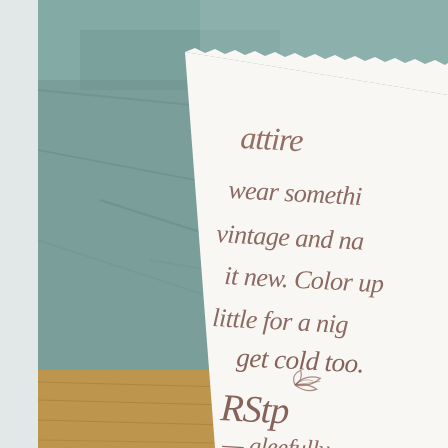[Figure (photo): A close-up photograph of a handwritten calligraphy card or invitation on white deckled-edge paper, held against a teal/sage green draped fabric background with a wooden surface visible at the bottom. The calligraphy text in brown/mauve ink reads: 'attire wear something vintage and n... it new. Color up little for a nig... get cold too.' followed by a small botanical leaf illustration, then 'RStp' and '— gleefully' and partially visible bottom text. The card is angled slightly. A light gray border is visible on the left side of the image.]